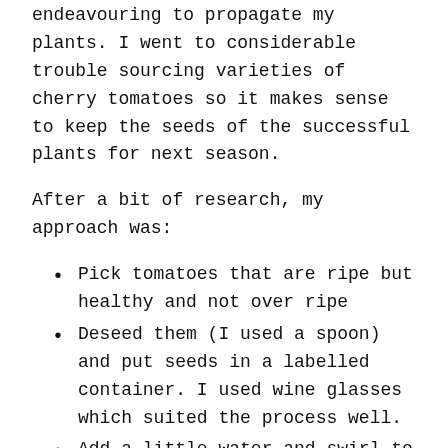endeavouring to propagate my plants. I went to considerable trouble sourcing varieties of cherry tomatoes so it makes sense to keep the seeds of the successful plants for next season.
After a bit of research, my approach was:
Pick tomatoes that are ripe but healthy and not over ripe
Deseed them (I used a spoon) and put seeds in a labelled container. I used wine glasses which suited the process well.
Add a little water and swirl to mix.
Cover the container with plastic wrap with a hole to allow for limited air circulation.
Each day swirl the glass to mix. What happens is that the seeds in the liquid will ferment and